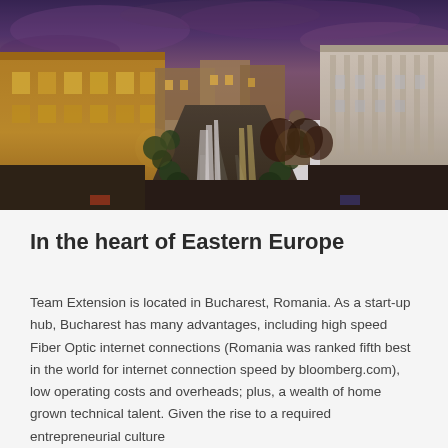[Figure (photo): Aerial night/dusk photograph of a wide boulevard in Bucharest, Romania. Grand classical buildings lit with warm golden lights flank a multi-lane road with light trails. Purple-blue sky, trees lining the street, and a monument visible on the right side.]
In the heart of Eastern Europe
Team Extension is located in Bucharest, Romania. As a start-up hub, Bucharest has many advantages, including high speed Fiber Optic internet connections (Romania was ranked fifth best in the world for internet connection speed by bloomberg.com), low operating costs and overheads; plus, a wealth of home grown technical talent. Given the rise to a required entrepreneurial culture